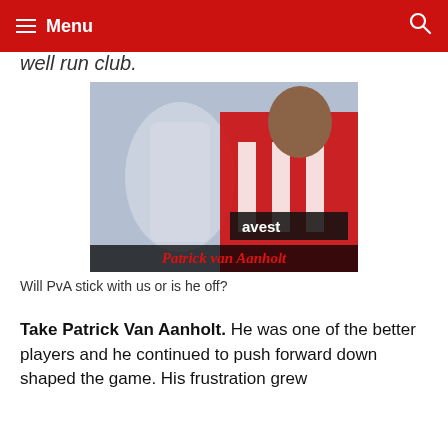Menu
well run club.
[Figure (photo): Patrick van Aanholt in Sunderland red and white striped kit, composite image with player action shots in background. Text overlay reads 'Patrick van Aanholt' in red italic bold text on dark bar at bottom.]
Will PvA stick with us or is he off?
Take Patrick Van Aanholt. He was one of the better players and he continued to push forward down shaped the game. His frustration grew